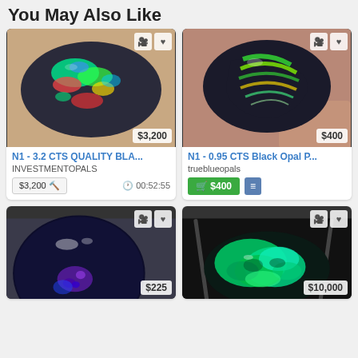You May Also Like
[Figure (photo): Black opal gemstone with multicolor fire pattern, N1 - 3.2 CTS QUALITY BLACK OPAL, price $3,200]
[Figure (photo): Black opal gemstone with green/yellow stripe pattern, N1 - 0.95 CTS Black Opal P, price $400]
[Figure (photo): Dark blue opal cabochon with purple glow, price $225]
[Figure (photo): Vivid green/teal black opal held by tweezers, price $10,000]